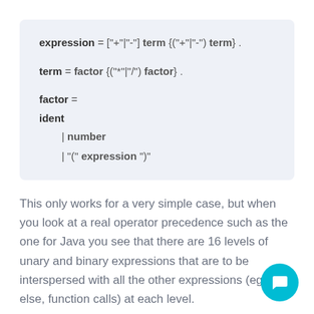This only works for a very simple case, but when you look at a real operator precedence such as the one for Java you see that there are 16 levels of unary and binary expressions that are to be interspersed with all the other expressions (eg. if-else, function calls) at each level.